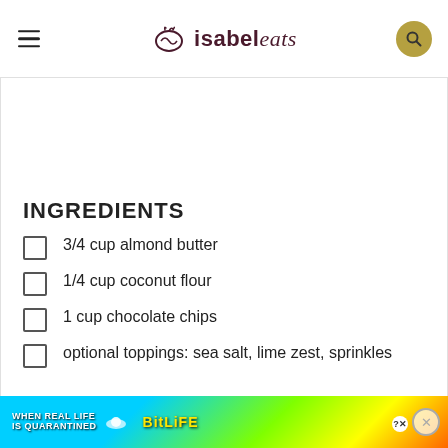isabel eats
INGREDIENTS
3/4 cup almond butter
1/4 cup coconut flour
1 cup chocolate chips
optional toppings: sea salt, lime zest, sprinkles
[Figure (other): Advertisement banner: BitLife game ad with rainbow background, text 'WHEN REAL LIFE IS QUARANTINED' and BitLife logo]